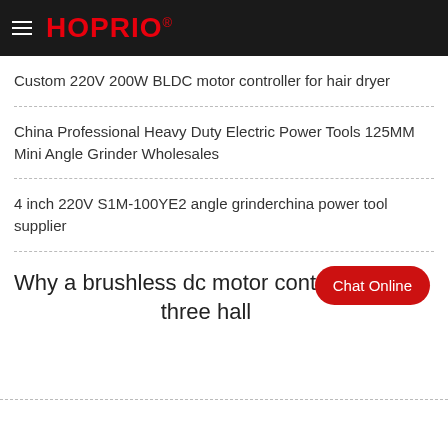HOPRIO®
Custom 220V 200W BLDC motor controller for hair dryer
China Professional Heavy Duty Electric Power Tools 125MM Mini Angle Grinder Wholesales
4 inch 220V S1M-100YE2 angle grinderchina power tool supplier
Why a brushless dc motor controller three hall
[Figure (other): Chat Online button overlay (red rounded rectangle)]